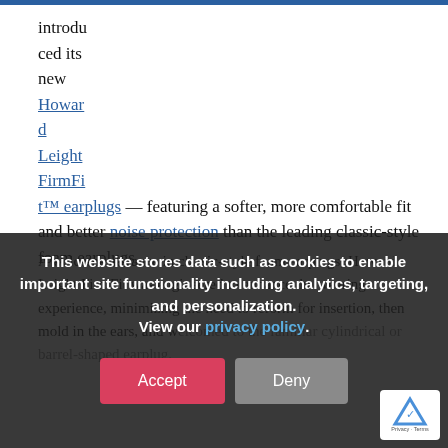introduced its new Howard Leight FirmFit™ earplugs — featuring a softer, more comfortable fit and better noise protection than the leading classic-style foam earplugs.
A welcome advance in classic-style foam earplugs, Howard Leight FirmFit was engineered to enhance the wearing experience, minimizing the need to reform for insertion, then mold in the ears, and welcomes the familiar cylindrical or barrel-shaped earplug.
This website stores data such as cookies to enable important site functionality including analytics, targeting, and personalization. View our privacy policy.